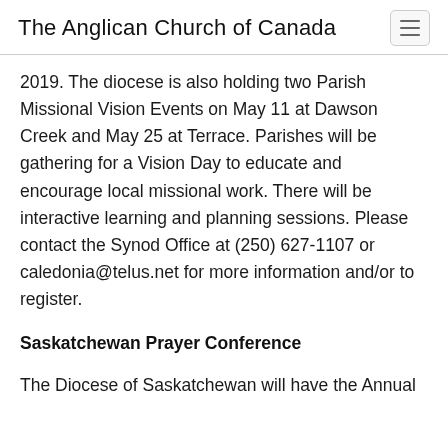The Anglican Church of Canada
2019. The diocese is also holding two Parish Missional Vision Events on May 11 at Dawson Creek and May 25 at Terrace. Parishes will be gathering for a Vision Day to educate and encourage local missional work. There will be interactive learning and planning sessions. Please contact the Synod Office at (250) 627-1107 or caledonia@telus.net for more information and/or to register.
Saskatchewan Prayer Conference
The Diocese of Saskatchewan will have the Annual